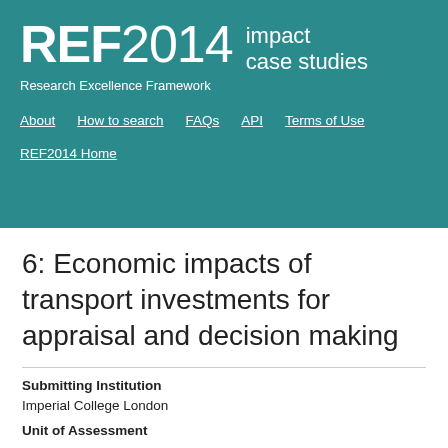REF2014 impact case studies — Research Excellence Framework
About | How to search | FAQs | API | Terms of Use
REF2014 Home
6: Economic impacts of transport investments for appraisal and decision making
Submitting Institution
Imperial College London
Unit of Assessment